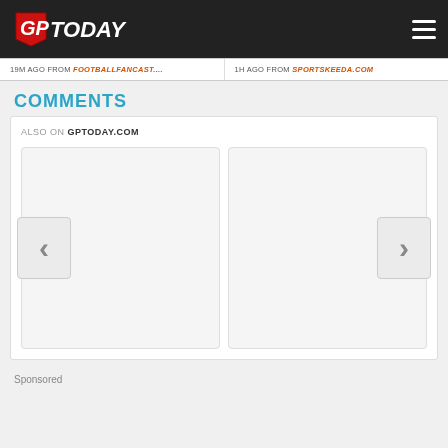GPToday
19M AGO FROM FOOTBALLFANCAST....
1H AGO FROM SPORTSKEEDA.COM
COMMENTS
ALSO ON GPTODAY.COM
[Figure (screenshot): Comments section with two card placeholders and left/right navigation arrows]
Sponsored